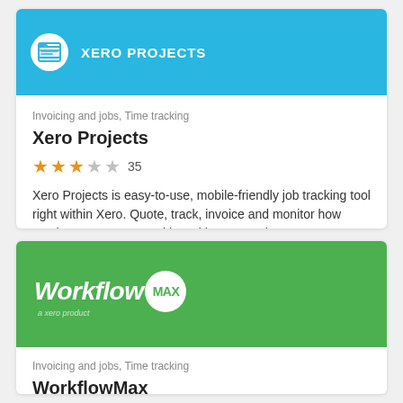[Figure (logo): Xero Projects card with blue header, folder icon in white circle, and XERO PROJECTS text]
Invoicing and jobs, Time tracking
Xero Projects
★★★☆☆ 35
Xero Projects is easy-to-use, mobile-friendly job tracking tool right within Xero. Quote, track, invoice and monitor how much money you're making with Xero Projects
[Figure (logo): WorkflowMax card with green header, WorkflowMax logo with white circle MAX badge and 'a xero product' tagline]
Invoicing and jobs, Time tracking
WorkflowMax